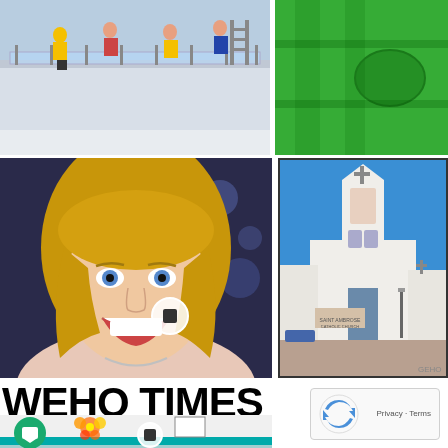[Figure (photo): People on an elevated glass walkway or balcony, construction workers visible, urban setting]
[Figure (photo): Close-up of bright green surface with structural elements]
[Figure (photo): Smiling blonde woman with a media/event backdrop, circle stop button overlay visible]
[Figure (photo): Saint Ambrose Catholic Church building with bell tower under blue sky, white facade]
WEHO TIMES
[Figure (photo): Street view of a building with colorful flower mural, teal trim, chat and stop button overlays]
[Figure (other): Google reCAPTCHA widget showing Privacy - Terms]